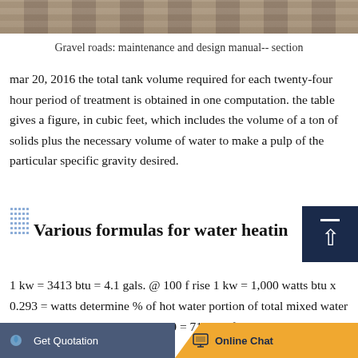[Figure (photo): Top photo strip showing gravel/timber road construction materials]
Gravel roads: maintenance and design manual-- section
mar 20, 2016 the total tank volume required for each twenty-four hour period of treatment is obtained in one computation. the table gives a figure, in cubic feet, which includes the volume of a ton of solids plus the necessary volume of water to make a pulp of the particular specific gravity desired.
Various formulas for water heating
1 kw = 3413 btu = 4.1 gals. @ 100 f rise 1 kw = 1,000 watts btu x 0.293 = watts determine % of hot water portion of total mixed water requirements m-c = 140-40 = 100 = 71.5% of mixture h-c
Get Quotation    Online Chat